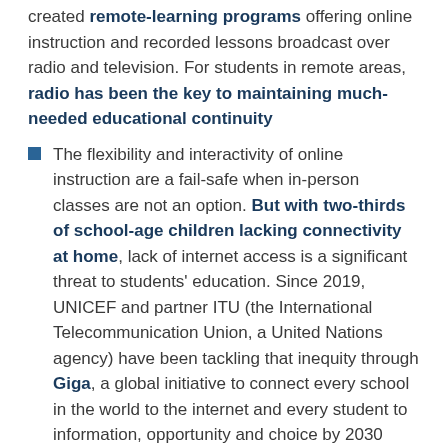created remote-learning programs offering online instruction and recorded lessons broadcast over radio and television. For students in remote areas, radio has been the key to maintaining much-needed educational continuity
The flexibility and interactivity of online instruction are a fail-safe when in-person classes are not an option. But with two-thirds of school-age children lacking connectivity at home, lack of internet access is a significant threat to students' education. Since 2019, UNICEF and partner ITU (the International Telecommunication Union, a United Nations agency) have been tackling that inequity through Giga, a global initiative to connect every school in the world to the internet and every student to information, opportunity and choice by 2030
Whether by setting up temporary classrooms for child refugees, building child-friendly schools, distributing books and other learning